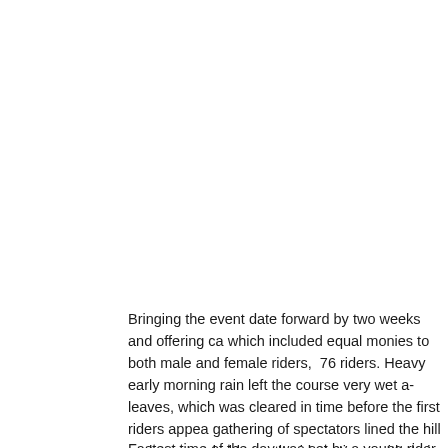Bringing the event date forward by two weeks and offering ca... which included equal monies to both male and female riders, 76 riders. Heavy early morning rain left the course very wet a... leaves, which was cleared in time before the first riders appea... gathering of spectators lined the hill and were probably worth... riderâ€™s times with their enthusiastic vocal support.
Fastest time of the day was set by a young rider from the juve... (Colchester Rovers CC), who is on British Cyclingâ€™s Olym... Second fastest was Tim Weller (University of Exeter CC) in 48... Symes from the relatively newly formed club of Manningtree V...
Only 1/10th of a second slower was the organising clubâ€™s... outstanding effort. Jason Bouttell (Team Velovelocity.co.uk) a... Racing Team) rounded off the top 6 positions with 49.0 and 49...
The Ladies prize was won by Samantha Segger from the nea... the minute with a time of 59.4secs. Becky Ridge (Manningtree... spot with 62.2secs and third place went to Tonya Griffiths (Ste...